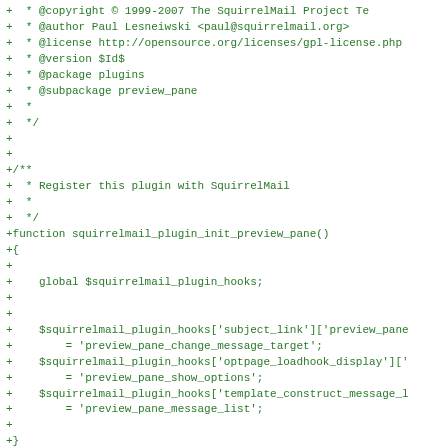[Figure (screenshot): A code diff view showing PHP source code additions (lines prefixed with '+') in green monospace font on a white background. The code shows a PHPDoc comment block with @copyright, @author, @license, @version, @package, @subpackage tags, followed by a function definition for squirrelmail_plugin_init_preview_pane() with plugin hooks assignments, and an if statement checking SM_PATH.]